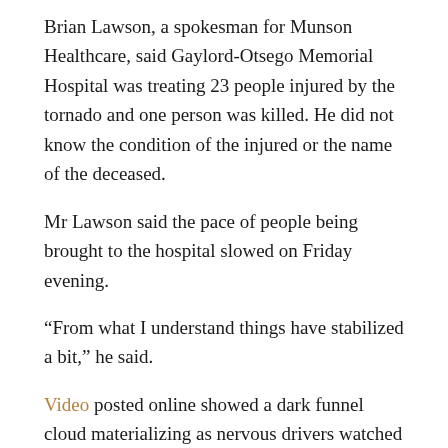Brian Lawson, a spokesman for Munson Healthcare, said Gaylord-Otsego Memorial Hospital was treating 23 people injured by the tornado and one person was killed. He did not know the condition of the injured or the name of the deceased.
Mr Lawson said the pace of people being brought to the hospital slowed on Friday evening.
“From what I understand things have stabilized a bit,” he said.
Video posted online showed a dark funnel cloud materializing as nervous drivers watched or slowly drove away, unsure of its path.
Another video showed extensive damage along the town’s main street. A building appeared to be largely collapsed and a Goodwill store was badly damaged.